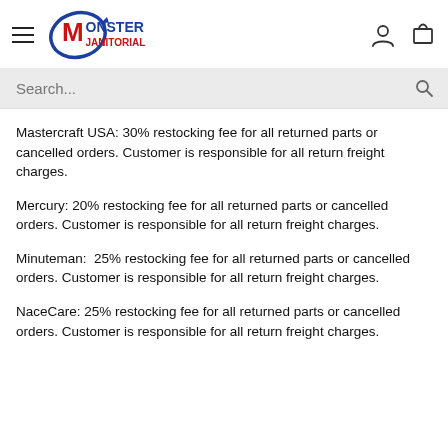[Figure (logo): Monster Janitorial logo with hamburger menu icon, user icon, and cart icon in navigation bar]
Search...
Mastercraft USA: 30% restocking fee for all returned parts or cancelled orders. Customer is responsible for all return freight charges.
Mercury: 20% restocking fee for all returned parts or cancelled orders. Customer is responsible for all return freight charges.
Minuteman:  25% restocking fee for all returned parts or cancelled orders. Customer is responsible for all return freight charges.
NaceCare: 25% restocking fee for all returned parts or cancelled orders. Customer is responsible for all return freight charges.